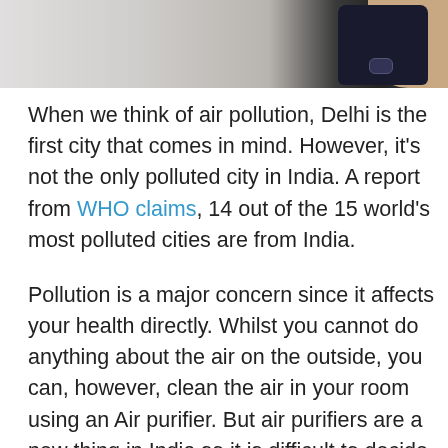[Figure (photo): Partial photo of a person holding a dark smartphone, showing the bottom portion of the phone and a thumb/hand against a light background.]
When we think of air pollution, Delhi is the first city that comes in mind. However, it's not the only polluted city in India. A report from WHO claims, 14 out of the 15 world's most polluted cities are from India.
Pollution is a major concern since it affects your health directly. Whilst you cannot do anything about the air on the outside, you can, however, clean the air in your room using an Air purifier. But air purifiers are a new thing in India so it is difficult to decide